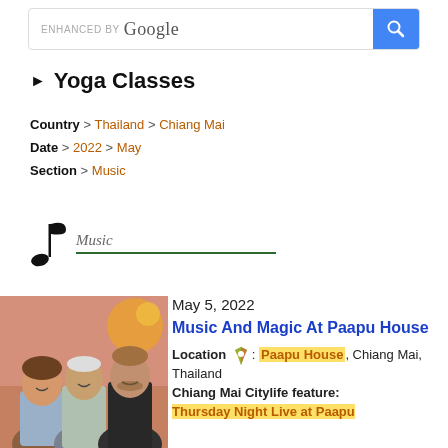[Figure (screenshot): Google search bar with blue search button on the right]
▶ Yoga Classes
Country > Thailand > Chiang Mai
Date > 2022 > May
Section > Music
[Figure (illustration): Musical note icon next to italic text 'Music' with green underline]
[Figure (photo): Photo of three people smiling at Paapu House event]
May 5, 2022
Music And Magic At Paapu House
Location: Paapu House, Chiang Mai, Thailand
Chiang Mai Citylife feature:
Thursday Night Live at Paapu